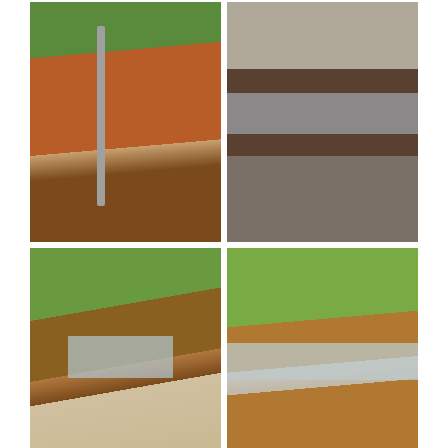[Figure (photo): Four outdoor photos: top-left shows an outdoor shower with a red clay/earth curved wall and wooden deck with trees behind; top-right shows a collection of shells and gravel in layered bins or trays; bottom-left shows an outdoor kitchen area with red walls and a metal sink; bottom-right shows a long metal trough or bench with green trees in the background.]
The attention to detail and the wonderful shell collection made you feel as if you were living on a desert island